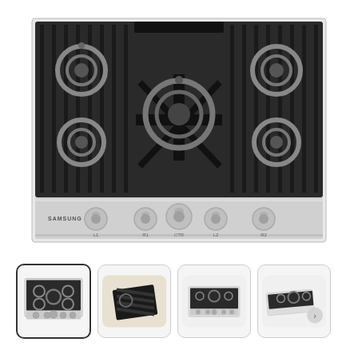[Figure (photo): Samsung 5-burner gas cooktop in stainless steel with black cast iron grates, viewed from above. Five burners including a large center burner, with five control knobs along the front panel. Samsung branding on the left side of the front panel.]
[Figure (photo): Thumbnail image 1: selected/active thumbnail showing top-down view of Samsung gas cooktop with five burners and five knobs.]
[Figure (photo): Thumbnail image 2: close-up angled photo of Samsung gas cooktop burner grates showing textured detail.]
[Figure (photo): Thumbnail image 3: front-angled view of Samsung gas cooktop showing five burners.]
[Figure (photo): Thumbnail image 4: side-angled perspective of Samsung gas cooktop with navigation arrow.]